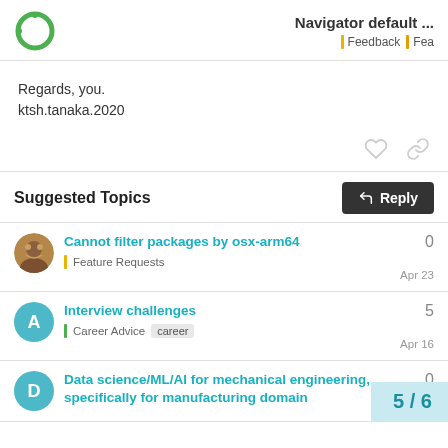Navigator default ... | Feedback | Fea
Regards, you.
ktsh.tanaka.2020
Suggested Topics
Cannot filter packages by osx-arm64 | Feature Requests | 0 | Apr 23
Interview challenges | Career Advice | career | 5 | Apr 16
Data science/ML/AI for mechanical engineering, specifically for manufacturing domain | 0